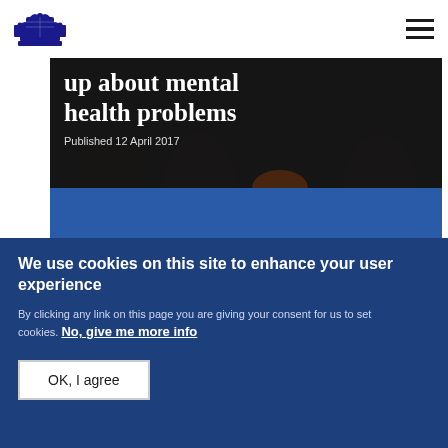UK Government logo and navigation menu
up about mental health problems
Published 12 April 2017
[Figure (photo): Photo of a person with red/orange hair in front of a blue curtain backdrop, partially visible]
We use cookies on this site to enhance your user experience
By clicking any link on this page you are giving your consent for us to set cookies. No, give me more info
OK, I agree